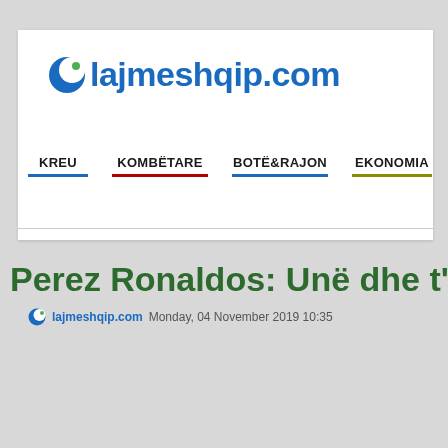[Figure (logo): lajmeshqip.com website logo with crescent moon icon and blue text]
KREU   KOMBËTARE   BOTË&RAJON   EKONOMIA
Perez Ronaldos: Unë dhe t'i kem
lajmeshqip.com Monday, 04 November 2019 10:35